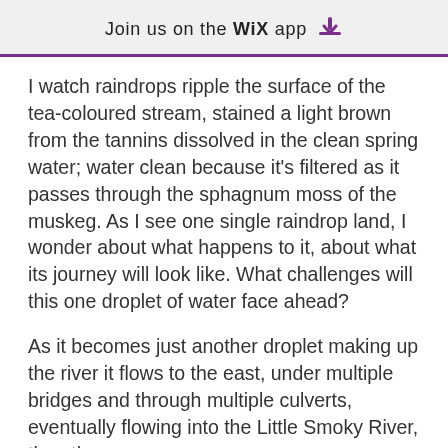Join us on the WiX app
I watch raindrops ripple the surface of the tea-coloured stream, stained a light brown from the tannins dissolved in the clean spring water; water clean because it's filtered as it passes through the sphagnum moss of the muskeg. As I see one single raindrop land, I wonder about what happens to it, about what its journey will look like. What challenges will this one droplet of water face ahead?
As it becomes just another droplet making up the river it flows to the east, under multiple bridges and through multiple culverts, eventually flowing into the Little Smoky River, then the